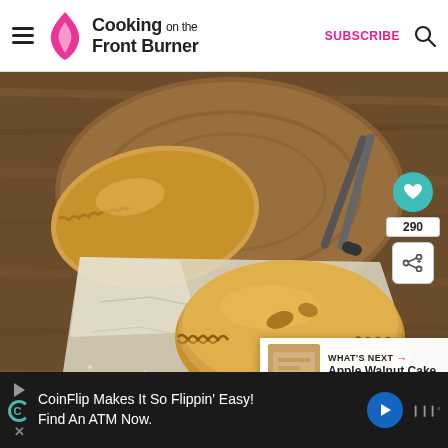Cooking on the Front Burner — SUBSCRIBE
[Figure (photo): Golden-brown hand pies / apple turnovers on a wooden cutting board and parchment paper. A larger pie sits on a round wooden board with tongs in the background; a single crimped hand pie sits in the foreground on white parchment paper.]
290
WHAT'S NEXT → Apple Walnut Cake
Cooking on the Front Burner
CoinFlip Makes It So Flippin' Easy! Find An ATM Now.